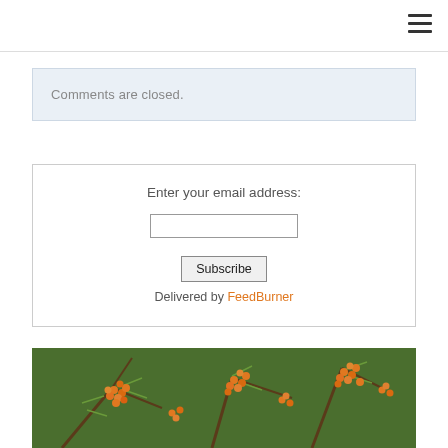Comments are closed.
Enter your email address:
Subscribe
Delivered by FeedBurner
[Figure (photo): Photo of orange sea buckthorn berries on branches with green needle-like leaves against a green background]